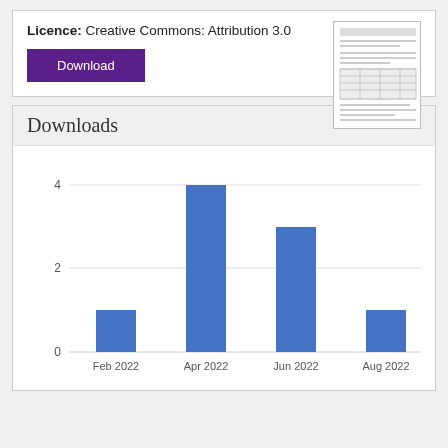Licence: Creative Commons: Attribution 3.0
[Figure (screenshot): Purple Download button]
[Figure (screenshot): Thumbnail preview of a document page]
Downloads
[Figure (bar-chart): Downloads]